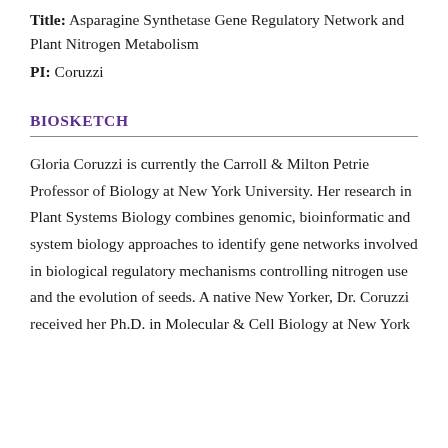Title: Asparagine Synthetase Gene Regulatory Network and Plant Nitrogen Metabolism
PI: Coruzzi
BIOSKETCH
Gloria Coruzzi is currently the Carroll & Milton Petrie Professor of Biology at New York University. Her research in Plant Systems Biology combines genomic, bioinformatic and system biology approaches to identify gene networks involved in biological regulatory mechanisms controlling nitrogen use and the evolution of seeds. A native New Yorker, Dr. Coruzzi received her Ph.D. in Molecular & Cell Biology at New York